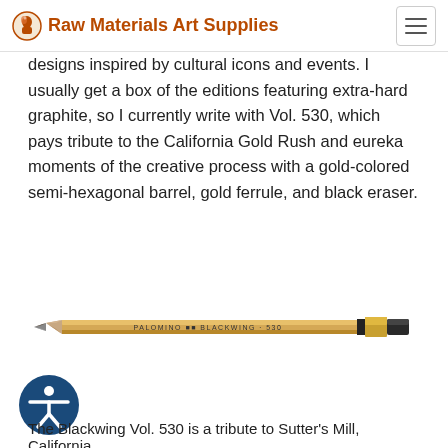Raw Materials Art Supplies
designs inspired by cultural icons and events. I usually get a box of the editions featuring extra-hard graphite, so I currently write with Vol. 530, which pays tribute to the California Gold Rush and eureka moments of the creative process with a gold-colored semi-hexagonal barrel, gold ferrule, and black eraser.
[Figure (photo): A gold-colored Palomino Blackwing 530 pencil shown horizontally against a white background, with a black ferrule and black eraser on the right end. Text on the barrel reads PALOMINO BLACKWING 530.]
[Figure (illustration): Accessibility icon — a circular dark blue badge with a white figure of a person with arms outstretched.]
The Blackwing Vol. 530 is a tribute to Sutter's Mill, California